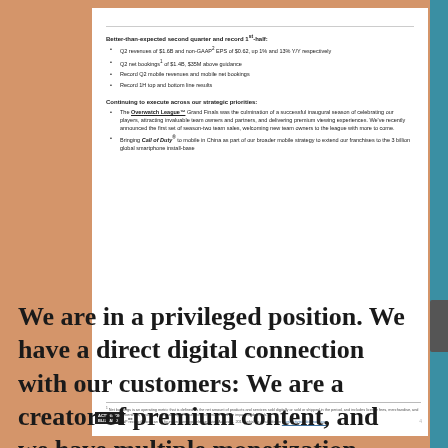Better-than-expected second quarter and record 1st-half:
Q2 revenues of $1.6B and non-GAAP2 EPS of $0.62, up 1% and 13% Y/Y respectively
Q2 net bookings1 of $1.4B, $35M above guidance
Record Q2 mobile revenues and mobile net bookings
Record 1H top and bottom line results
Continuing to execute across our strategic priorities:
The Overwatch League™ Grand Finals was the culmination of a successful inaugural season of celebrating our players, attracting invaluable team owners and partners, and delivering premium viewing experiences. We've recently announced the first set of season-two team sales, welcoming new team owners to the league with more to come.
Bringing Call of Duty® to mobile in China as part of our broader mobile strategy to extend our franchises to the 3 billion global smartphone install-base
1 Net bookings is an operating metric that is defined as the net amount of products and services sold digitally or sold or shipped in the period, and includes license fees, merchandise, and publisher incentives, among others, and equal to segment revenues less the impact of deferrals.
2 Non-GAAP reconciliation can be found in earnings release dated August 3, 2018, which is available on www.activisionblizzard.com.
We are in a privileged position. We have a direct digital connection with our customers: We are a creator of premium content, and we have multiple monetization models at scale. Our success is driven by the enthusiasm our audiences have for our products, and for the